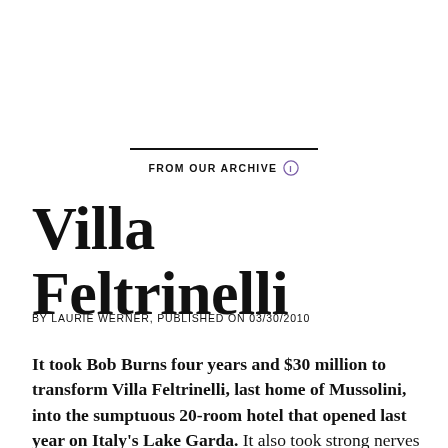FROM OUR ARCHIVE
Villa Feltrinelli
BY LAURIE WERNER, PUBLISHED ON 03/30/2010
It took Bob Burns four years and $30 million to transform Villa Feltrinelli, last home of Mussolini, into the sumptuous 20-room hotel that opened last year on Italy's Lake Garda. It also took strong nerves and a sense of the